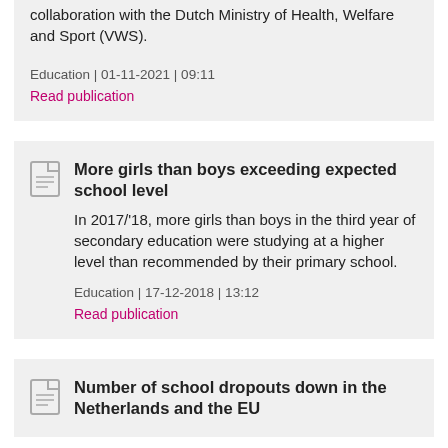collaboration with the Dutch Ministry of Health, Welfare and Sport (VWS).
Education | 01-11-2021 | 09:11
Read publication
More girls than boys exceeding expected school level
In 2017/'18, more girls than boys in the third year of secondary education were studying at a higher level than recommended by their primary school.
Education | 17-12-2018 | 13:12
Read publication
Number of school dropouts down in the Netherlands and the EU